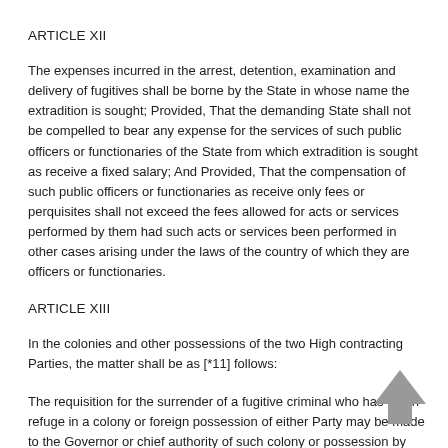ARTICLE XII
The expenses incurred in the arrest, detention, examination and delivery of fugitives shall be borne by the State in whose name the extradition is sought; Provided, That the demanding State shall not be compelled to bear any expense for the services of such public officers or functionaries of the State from which extradition is sought as receive a fixed salary; And Provided, That the compensation of such public officers or functionaries as receive only fees or perquisites shall not exceed the fees allowed for acts or services performed by them had such acts or services been performed in other cases arising under the laws of the country of which they are officers or functionaries.
ARTICLE XIII
In the colonies and other possessions of the two High contracting Parties, the matter shall be as [*11] follows:
The requisition for the surrender of a fugitive criminal who has taken refuge in a colony or foreign possession of either Party may be made to the Governor or chief authority of such colony or possession by the chief officer of the other in such colony or possession; or if the fugitive has escaped from a colony or foreign possession of the Party on whose behalf the requisition is made, by the Governor or chief authority of such colony or possession.
Such requisitions may be disposed of, subject always, as nearly as may be the